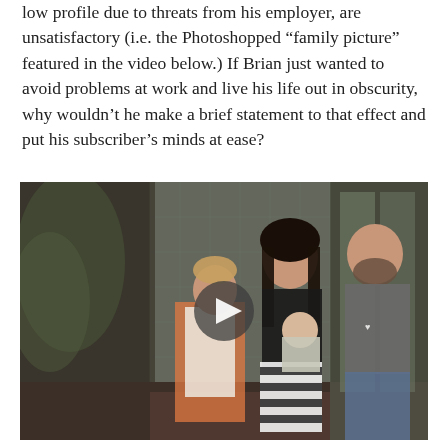low profile due to threats from his employer, are unsatisfactory (i.e. the Photoshopped “family picture” featured in the video below.) If Brian just wanted to avoid problems at work and live his life out in obscurity, why wouldn’t he make a brief statement to that effect and put his subscriber’s minds at ease?
[Figure (photo): A family photo shown as a video thumbnail with a play button overlay. Shows a woman with dark hair, a bearded man in a gray t-shirt, a young boy in orange and white, and a baby being held. They are standing in front of a glass block wall.]